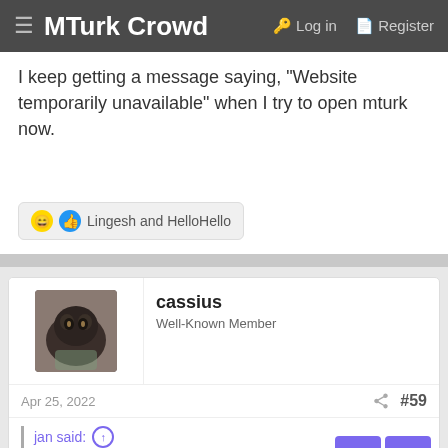MTurk Crowd  Log in  Register
I keep getting a message saying, "Website temporarily unavailable" when I try to open mturk now.
😄 👍 Lingesh and HelloHello
[Figure (photo): Avatar photo of user cassius showing a dark cat]
cassius
Well-Known Member
Apr 25, 2022  #59
jan said: ↑
the jim laboupo knead in the absolute host!